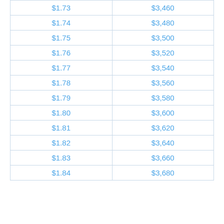| $1.73 | $3,460 |
| $1.74 | $3,480 |
| $1.75 | $3,500 |
| $1.76 | $3,520 |
| $1.77 | $3,540 |
| $1.78 | $3,560 |
| $1.79 | $3,580 |
| $1.80 | $3,600 |
| $1.81 | $3,620 |
| $1.82 | $3,640 |
| $1.83 | $3,660 |
| $1.84 | $3,680 |